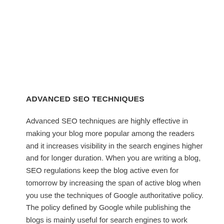ADVANCED SEO TECHNIQUES
Advanced SEO techniques are highly effective in making your blog more popular among the readers and it increases visibility in the search engines higher and for longer duration. When you are writing a blog, SEO regulations keep the blog active even for tomorrow by increasing the span of active blog when you use the techniques of Google authoritative policy. The policy defined by Google while publishing the blogs is mainly useful for search engines to work effectively and to locate the blogs in the search engine result pages